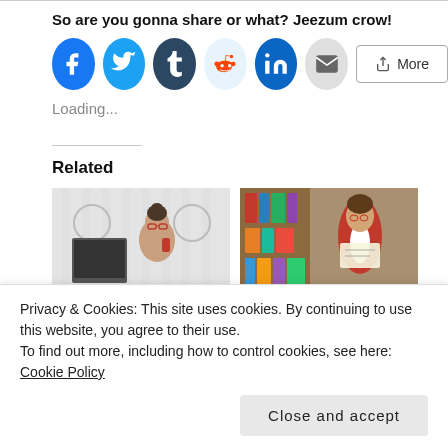So are you gonna share or what? Jeezum crow!
[Figure (other): Social sharing buttons: Facebook, Twitter, Tumblr, Reddit, LinkedIn, Email (circle icons), and a More button]
Loading...
Related
[Figure (photo): Woman with glasses looking at camera in an office setting]
[Figure (photo): Man in red blazer holding papers in a library]
Privacy & Cookies: This site uses cookies. By continuing to use this website, you agree to their use.
To find out more, including how to control cookies, see here: Cookie Policy
Close and accept